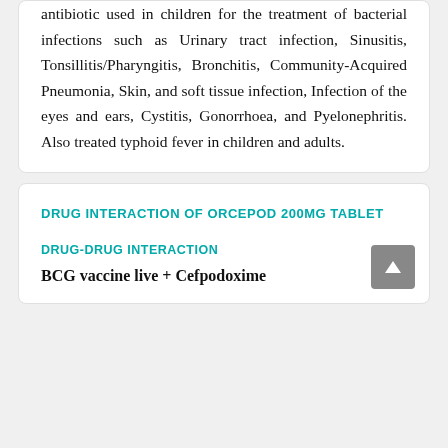antibiotic used in children for the treatment of bacterial infections such as Urinary tract infection, Sinusitis, Tonsillitis/Pharyngitis, Bronchitis, Community-Acquired Pneumonia, Skin, and soft tissue infection, Infection of the eyes and ears, Cystitis, Gonorrhoea, and Pyelonephritis. Also treated typhoid fever in children and adults.
DRUG INTERACTION OF ORCEPOD 200MG TABLET
DRUG-DRUG INTERACTION
BCG vaccine live + Cefpodoxime